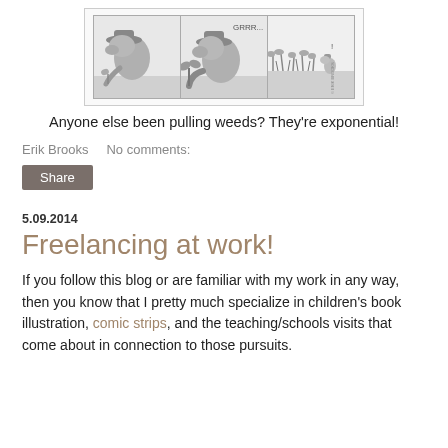[Figure (illustration): A three-panel comic strip showing a cartoon animal character (resembling a hippo or similar creature wearing a wide-brimmed hat) pulling weeds. Panel 1: character bends down pulling a weed. Panel 2: character struggles with a larger weed. Panel 3: character stands tiny amid a field of overgrown weeds.]
Anyone else been pulling weeds? They're exponential!
Erik Brooks   No comments:
Share
5.09.2014
Freelancing at work!
If you follow this blog or are familiar with my work in any way, then you know that I pretty much specialize in children's book illustration, comic strips, and the teaching/schools visits that come about in connection to those pursuits.